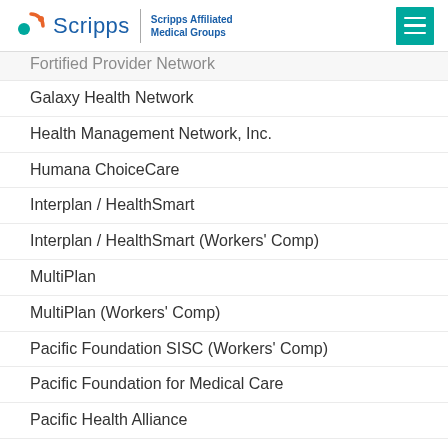Scripps | Scripps Affiliated Medical Groups
Fortified Provider Network
Galaxy Health Network
Health Management Network, Inc.
Humana ChoiceCare
Interplan / HealthSmart
Interplan / HealthSmart (Workers' Comp)
MultiPlan
MultiPlan (Workers' Comp)
Pacific Foundation SISC (Workers' Comp)
Pacific Foundation for Medical Care
Pacific Health Alliance
Prime Health Services
Prime Health Services (Workers' Comp)
Private Healthcare Systems (PHCS)
Scripps Employee Medical Plan